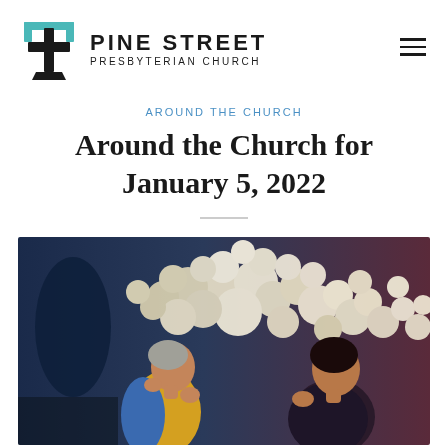PINE STREET PRESBYTERIAN CHURCH
AROUND THE CHURCH
Around the Church for January 5, 2022
[Figure (illustration): Colorful painting of two figures — one in yellow and blue clothing and one in dark patterned clothing — looking upward toward a large cluster of white and cream flowers against a dark blue and purple background.]